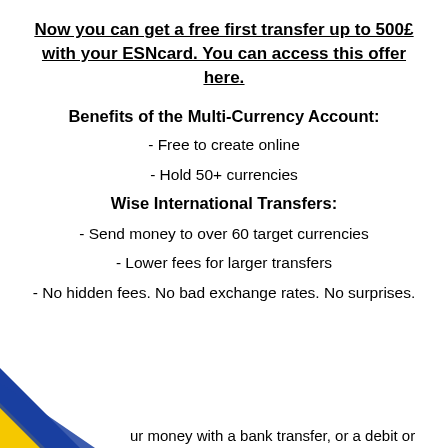Now you can get a free first transfer up to 500£ with your ESNcard. You can access this offer here.
Benefits of the Multi-Currency Account:
- Free to create online
- Hold 50+ currencies
Wise International Transfers:
- Send money to over 60 target currencies
- Lower fees for larger transfers
- No hidden fees. No bad exchange rates. No surprises.
ur money with a bank transfer, or a debit or